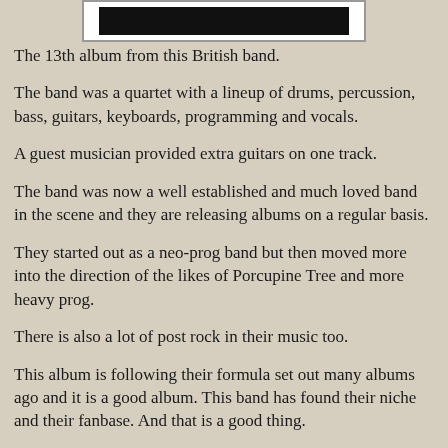[Figure (photo): Partially visible album cover image at the top of the page, showing a dark/black image inside a white-bordered frame.]
The 13th album from this British band.
The band was a quartet with a lineup of drums, percussion, bass, guitars, keyboards, programming and vocals.
A guest musician provided extra guitars on one track.
The band was now a well established and much loved band in the scene and they are releasing albums on a regular basis.
They started out as a neo-prog band but then moved more into the direction of the likes of Porcupine Tree and more heavy prog.
There is also a lot of post rock in their music too.
This album is following their formula set out many albums ago and it is a good album. This band has found their niche and their fanbase. And that is a good thing.
I am not a big fan of the music they are playing. But bands...